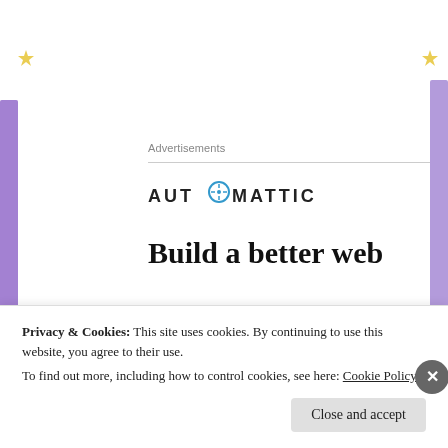[Figure (illustration): Decorative purple lavender flowers on left and right sides of page background, with yellow stars in top corners]
Advertisements
[Figure (logo): AUTOMATTIC logo with a compass/clock icon replacing the letter O]
Build a better web
[Figure (illustration): Purple lavender flowers with green stems arranged in a garland/wreath pattern]
Privacy & Cookies: This site uses cookies. By continuing to use this website, you agree to their use. To find out more, including how to control cookies, see here: Cookie Policy
Close and accept